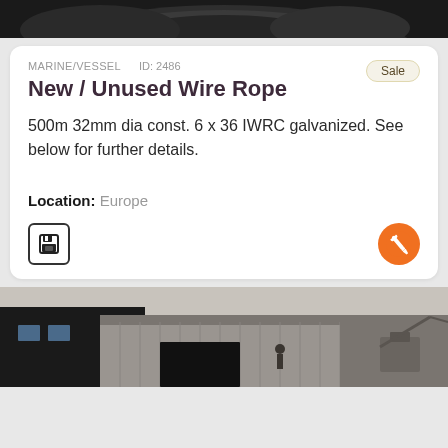[Figure (photo): Top portion showing dark wire rope coil close-up]
MARINE/VESSEL   ID: 2486
Sale
New / Unused Wire Rope
500m 32mm dia const. 6 x 36 IWRC galvanized. See below for further details.
Location: Europe
[Figure (illustration): Save icon (floppy disk) and orange wrench/tool button]
[Figure (photo): Bottom photo showing warehouse/industrial building exterior with machinery]